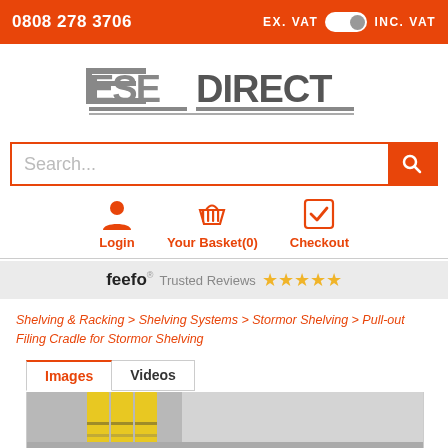0808 278 3706   EX. VAT  [toggle]  INC. VAT
[Figure (logo): ESE DIRECT logo with text THE EXPERTS IN PRODUCTS FOR BUSINESS]
Search...
[Figure (infographic): Navigation icons: Login, Your Basket(0), Checkout with orange icons]
feefo Trusted Reviews ★★★★★
Shelving & Racking > Shelving Systems > Stormor Shelving > Pull-out Filing Cradle for Stormor Shelving
Images   Videos
[Figure (photo): Product image showing pull-out filing cradle with yellow binders on shelving unit]